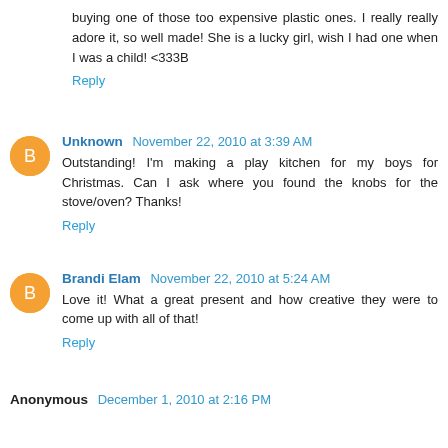buying one of those too expensive plastic ones. I really really adore it, so well made! She is a lucky girl, wish I had one when I was a child! <333B
Reply
Unknown November 22, 2010 at 3:39 AM
Outstanding! I'm making a play kitchen for my boys for Christmas. Can I ask where you found the knobs for the stove/oven? Thanks!
Reply
Brandi Elam November 22, 2010 at 5:24 AM
Love it! What a great present and how creative they were to come up with all of that!
Reply
Anonymous December 1, 2010 at 2:16 PM